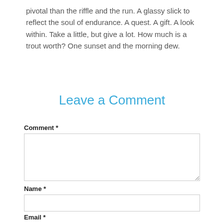pivotal than the riffle and the run. A glassy slick to reflect the soul of endurance. A quest. A gift. A look within. Take a little, but give a lot. How much is a trout worth? One sunset and the morning dew.
Leave a Comment
Comment *
Name *
Email *